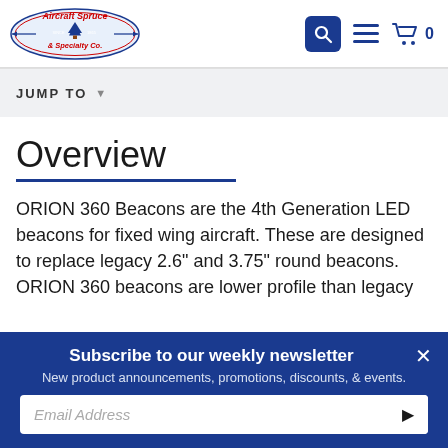Aircraft Spruce & Specialty Co.
JUMP TO
Overview
ORION 360 Beacons are the 4th Generation LED beacons for fixed wing aircraft. These are designed to replace legacy 2.6" and 3.75" round beacons. ORION 360 beacons are lower profile than legacy
Subscribe to our weekly newsletter
New product announcements, promotions, discounts, & events.